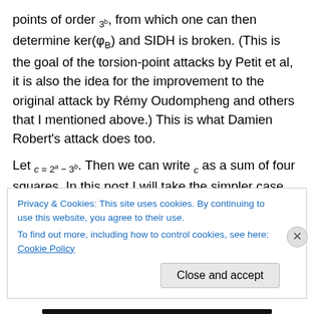points of order 3^b, from which one can then determine ker(φ_B) and SIDH is broken. (This is the goal of the torsion-point attacks by Petit et al, it is also the idea for the improvement to the original attack by Rémy Oudompheng and others that I mentioned above.) This is what Damien Robert's attack does too.
Let c = 2^a − 3^b. Then we can write c as a sum of four squares. In this post I will take the simpler case when all prime factors of the square-free part of c are congruent to 1 modulo 4, in which case we can write c = a_1^2 + a_2^2 where
Privacy & Cookies: This site uses cookies. By continuing to use this website, you agree to their use.
To find out more, including how to control cookies, see here: Cookie Policy
Close and accept